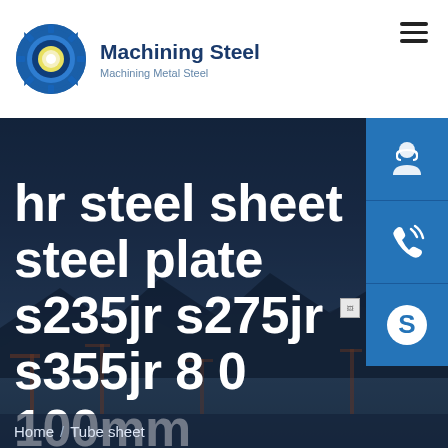[Figure (logo): Machining Steel gear logo — blue gear with yellow/white center circle]
Machining Steel
Machining Metal Steel
[Figure (infographic): Three blue sidebar buttons: customer service icon, phone/call icon, Skype icon]
[Figure (photo): Industrial background photo showing steel yard/port with cranes and mountains, dark blue overlay]
hr steel sheet steel plate s235jr s275jr s355jr 8 0 100mm
Home / Tube sheet